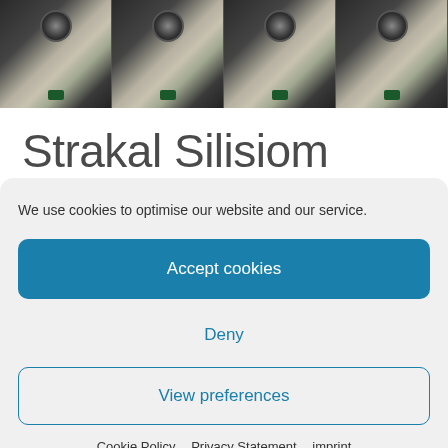[Figure (photo): Product photo strip showing repeated images of a black device (possibly a soil sensor or probe) placed against rocks and gravel, shown in four repeated panels side by side]
Strakal Silisiom
We use cookies to optimise our website and our service.
Accept cookies
Deny
View preferences
Cookie Policy   Privacy Statement   imprint